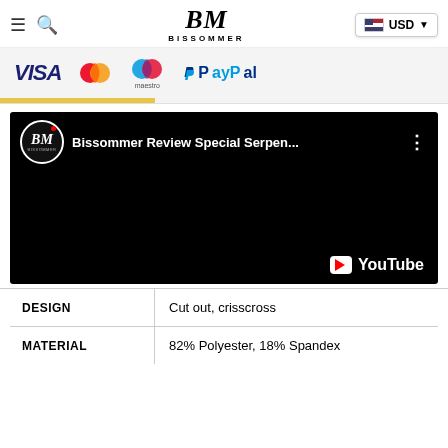BM BISSOMMER — USD
[Figure (screenshot): Payment method logos: VISA, Mastercard, Maestro, PayPal on a light grey background with a yellow accent bar]
[Figure (screenshot): YouTube video embed showing Bissommer channel logo and title: 'Bissommer Review Special Serpen...' on black background with YouTube badge]
|  |  |
| --- | --- |
| DESIGN | Cut out, crisscross |
| MATERIAL | 82% Polyester, 18% Spandex |